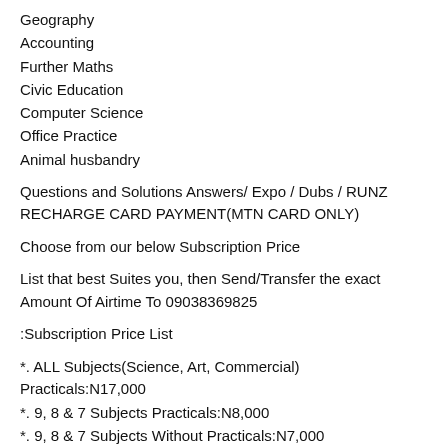Geography
Accounting
Further Maths
Civic Education
Computer Science
Office Practice
Animal husbandry
Questions and Solutions Answers/ Expo / Dubs / RUNZ
RECHARGE CARD PAYMENT(MTN CARD ONLY)
Choose from our below Subscription Price
List that best Suites you, then Send/Transfer the exact Amount Of Airtime To 09038369825
:Subscription Price List
*. ALL Subjects(Science, Art, Commercial) Practicals:N17,000
*. 9, 8 & 7 Subjects Practicals:N8,000
*. 9, 8 & 7 Subjects Without Practicals:N7,000